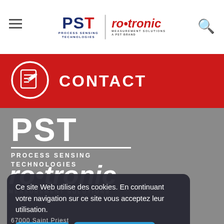[Figure (logo): PST Process Sensing Technologies and Rotronic Measurement Solutions logos in header]
CONTACT
[Figure (logo): PST Process Sensing Technologies large logo on gray background]
[Figure (logo): Rotronic Measurement Solutions large logo on gray background]
Ce site Web utilise des cookies. En continuant votre navigation sur ce site vous acceptez leur utilisation.
✔ Accepter   Plus d'informations
67000 Saint Priest